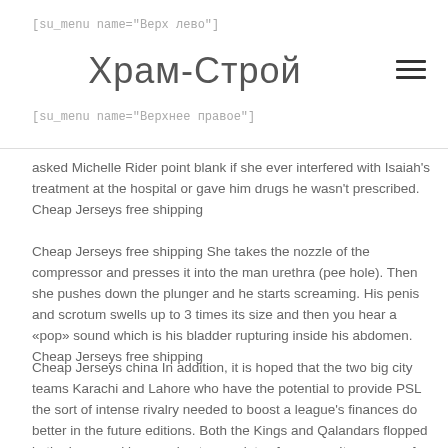[su_menu name='Верх лево']
Храм-Строй
[su_menu name='Верхнее правое']
asked Michelle Rider point blank if she ever interfered with Isaiah's treatment at the hospital or gave him drugs he wasn't prescribed. Cheap Jerseys free shipping
Cheap Jerseys free shipping She takes the nozzle of the compressor and presses it into the man urethra (pee hole). Then she pushes down the plunger and he starts screaming. His penis and scrotum swells up to 3 times its size and then you hear a «pop» sound which is his bladder rupturing inside his abdomen. Cheap Jerseys free shipping
Cheap Jerseys china In addition, it is hoped that the two big city teams Karachi and Lahore who have the potential to provide PSL the sort of intense rivalry needed to boost a league's finances do better in the future editions. Both the Kings and Qalandars flopped in the inaugural league due to a variety of reasons. It was one of the rare areas where PSL failed to live up to expectations as the pre tournament hype was centred around